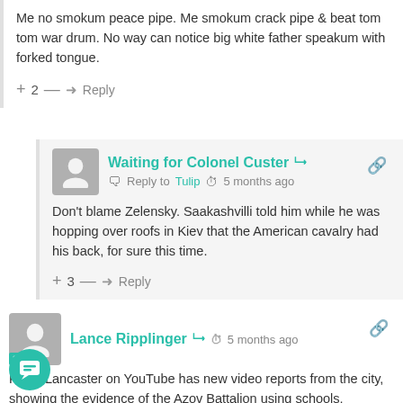Me no smokum peace pipe. Me smokum crack pipe & beat tom tom war drum. No way can notice big white father speakum with forked tongue.
+ 2 — Reply
Waiting for Colonel Custer
Reply to Tulip  5 months ago
Don't blame Zelensky. Saakashvilli told him while he was hopping over roofs in Kiev that the American cavalry had his back, for sure this time.
+ 3 — Reply
Lance Ripplinger
5 months ago
P... Lancaster on YouTube has new video reports from the city, showing the evidence of the Azov Battalion using schools,